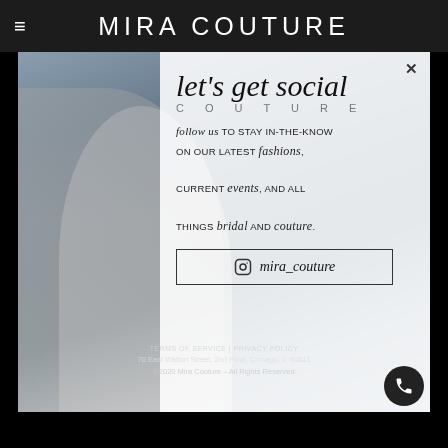MIRA COUTURE
[Figure (photo): Woman in a lace wedding gown against an outdoor urban background, with a social media overlay popup encouraging Instagram followers]
let's get social
follow us TO STAY IN-THE-KNOW ON OUR LATEST fashions, CURRENT events, AND ALL THINGS bridal AND couture.
mira_couture
TERMS OF SERVICE | PRIVACY POLICY
70 East Walton Street, 2nd Floor, Chicago, IL 60611
©2020 Mira Couture – All Rights Reserved